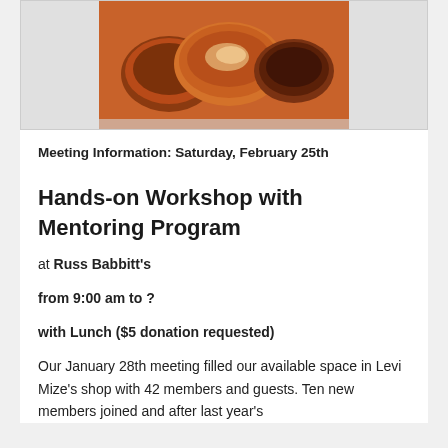[Figure (photo): Photo of wooden bowls on a table, showing various turned wood pieces in brown and tan tones]
Meeting Information: Saturday, February 25th
Hands-on Workshop with Mentoring Program
at Russ Babbitt's
from 9:00 am to ?
with Lunch ($5 donation requested)
Our January 28th meeting filled our available space in Levi Mize's shop with 42 members and guests. Ten new members joined and after last year's